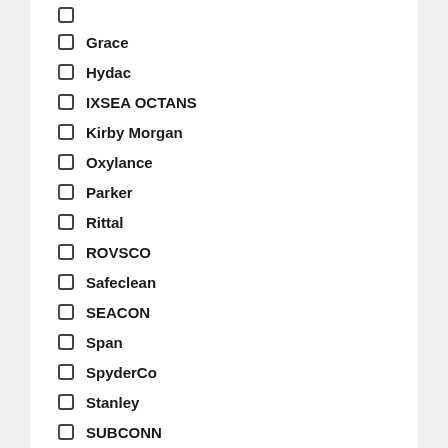Grace
Hydac
IXSEA OCTANS
Kirby Morgan
Oxylance
Parker
Rittal
ROVSCO
Safeclean
SEACON
Span
SpyderCo
Stanley
SUBCONN
SUBSALVE